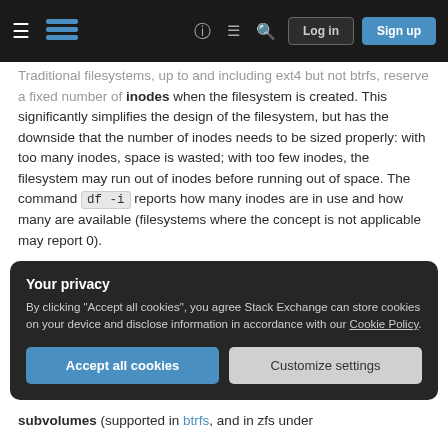Stack Exchange navigation bar with hamburger menu, logo, help, chat, search, log in, and sign up buttons
Traditional filesystems, up to and including ext4 but not btrfs, reserve a fixed number of inodes when the filesystem is created. This significantly simplifies the design of the filesystem, but has the downside that the number of inodes needs to be sized properly: with too many inodes, space is wasted; with too few inodes, the filesystem may run out of inodes before running out of space. The command df -i reports how many inodes are in use and how many are available (filesystems where the concept is not applicable may report 0).
Your privacy
By clicking "Accept all cookies", you agree Stack Exchange can store cookies on your device and disclose information in accordance with our Cookie Policy.
Accept all cookies   Customize settings
subvolumes (supported in btrfs, and in zfs under